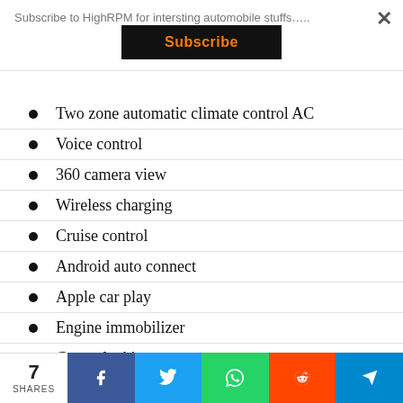Subscribe to HighRPM for intersting automobile stuffs…..
Subscribe
Two zone automatic climate control AC
Voice control
360 camera view
Wireless charging
Cruise control
Android auto connect
Apple car play
Engine immobilizer
Center locking
Parking sensors (F&R)
7 SHARES | Facebook | Twitter | WhatsApp | Reddit | Telegram